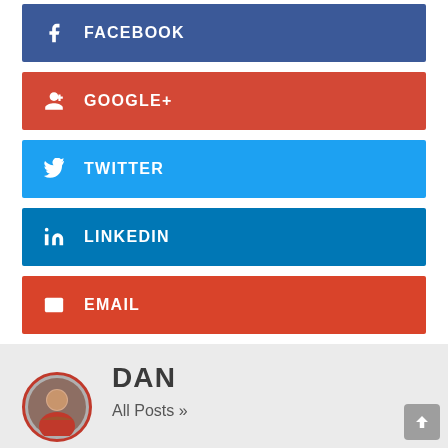FACEBOOK
GOOGLE+
TWITTER
LINKEDIN
EMAIL
DAN
All Posts »